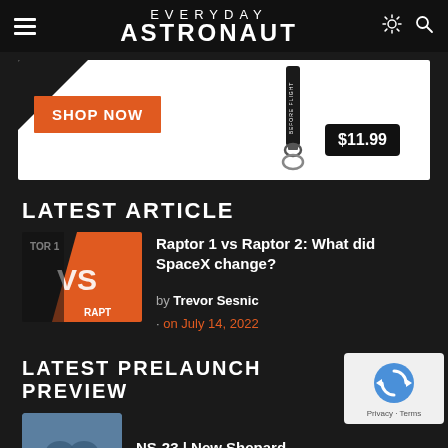EVERYDAY ASTRONAUT
[Figure (photo): Shop banner with SHOP NOW button and a keychain product image priced at $11.99]
LATEST ARTICLE
[Figure (photo): Thumbnail image showing Raptor 1 vs Raptor 2 graphic with orange VS text]
Raptor 1 vs Raptor 2: What did SpaceX change?
by Trevor Sesnic · on July 14, 2022
LATEST PRELAUNCH PREVIEW
[Figure (photo): Blue thumbnail image for NS-23 New Shepard prelaunch preview]
NS-23 | New Shepard
[Figure (other): Google reCAPTCHA badge with Privacy and Terms links]